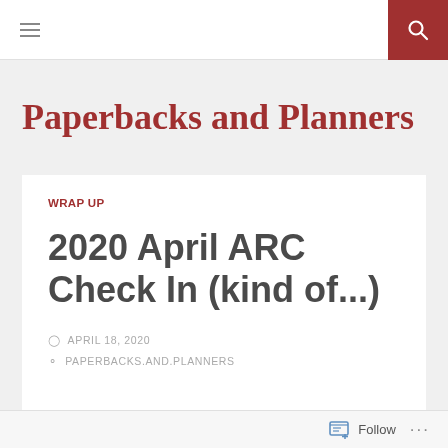≡  [search icon]
Paperbacks and Planners
WRAP UP
2020 April ARC Check In (kind of...)
APRIL 18, 2020
PAPERBACKS.AND.PLANNERS
Follow ...